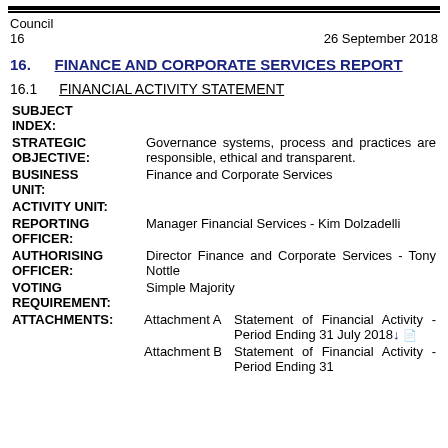Council
16    26 September 2018
16.    FINANCE AND CORPORATE SERVICES REPORT
16.1    FINANCIAL ACTIVITY STATEMENT
SUBJECT INDEX:
STRATEGIC OBJECTIVE: Governance systems, process and practices are responsible, ethical and transparent.
BUSINESS UNIT: Finance and Corporate Services
ACTIVITY UNIT:
REPORTING OFFICER: Manager Financial Services - Kim Dolzadelli
AUTHORISING OFFICER: Director Finance and Corporate Services - Tony Nottle
VOTING REQUIREMENT: Simple Majority
ATTACHMENTS: Attachment A  Statement of Financial Activity - Period Ending 31 July 2018
Attachment B  Statement of Financial Activity - Period Ending 31